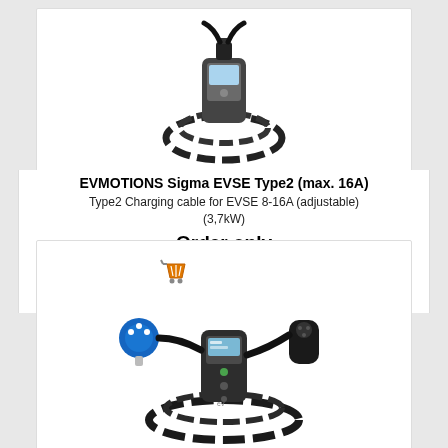[Figure (photo): EVMOTIONS Sigma EVSE Type2 charger with coiled cable on white background]
EVMOTIONS Sigma EVSE Type2 (max. 16A)
Type2 Charging cable for EVSE 8-16A (adjustable) (3,7kW)
Order only
[Figure (other): Shopping cart icon next to Add to Cart button in blue]
(270,00 £) with VAT
[Figure (photo): EV charging cable with blue CEE plug on one end and Type2 connector on the other, with inline EVSE control unit]